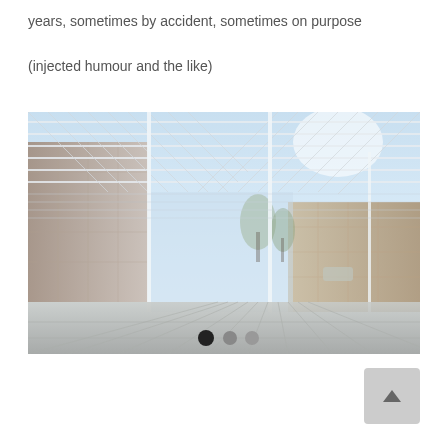years, sometimes by accident, sometimes on purpose

(injected humour and the like)
[Figure (photo): Architectural rendering of a modern building complex with a glass and metal lattice roof canopy structure over an open courtyard area, showing surrounding multi-story buildings with glass facades and trees in the background. Navigation dots (one dark, two grey) are overlaid at the bottom center of the image.]